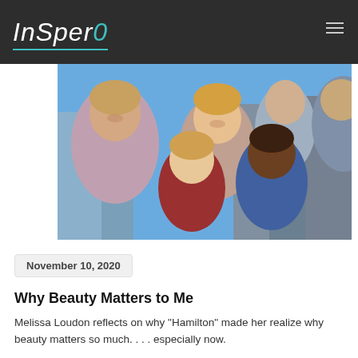InSpero
[Figure (photo): Group photo of five people smiling outdoors in a city setting, including a woman and several children/teenagers of different ages and ethnicities.]
November 10, 2020
Why Beauty Matters to Me
Melissa Loudon reflects on why "Hamilton" made her realize why beauty matters so much. . . . especially now.